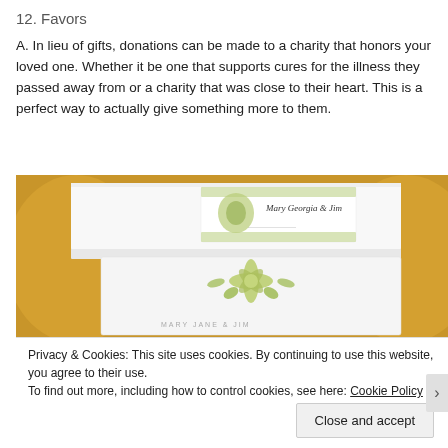12. Favors
A. In lieu of gifts, donations can be made to a charity that honors your loved one. Whether it be one that supports cures for the illness they passed away from or a charity that was close to their heart. This is a perfect way to actually give something more to them.
[Figure (photo): Photo of white folded napkins with green floral monogram print on a golden/yellow charger plate, table setting with personalized stationery cards.]
Privacy & Cookies: This site uses cookies. By continuing to use this website, you agree to their use.
To find out more, including how to control cookies, see here: Cookie Policy
Close and accept